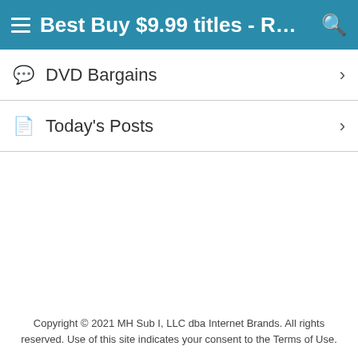Best Buy $9.99 titles - READ N...
DVD Bargains
Today's Posts
Copyright © 2021 MH Sub I, LLC dba Internet Brands. All rights reserved. Use of this site indicates your consent to the Terms of Use.